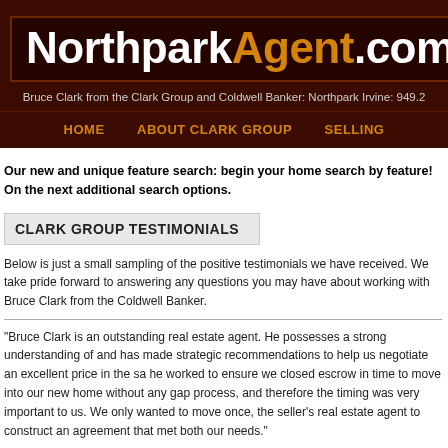NorthparkAgent.com
Bruce Clark from the Clark Group and Coldwell Banker: Northpark Irvine: 949.2
HOME   ABOUT CLARK GROUP   SELLING
Our new and unique feature search: begin your home search by feature! On the next additional search options.
CLARK GROUP TESTIMONIALS
Below is just a small sampling of the positive testimonials we have received. We take pride forward to answering any questions you may have about working with Bruce Clark from the Coldwell Banker.
"Bruce Clark is an outstanding real estate agent. He possesses a strong understanding of and has made strategic recommendations to help us negotiate an excellent price in the sa he worked to ensure we closed escrow in time to move into our new home without any gap process, and therefore the timing was very important to us. We only wanted to move once, the seller's real estate agent to construct an agreement that met both our needs."